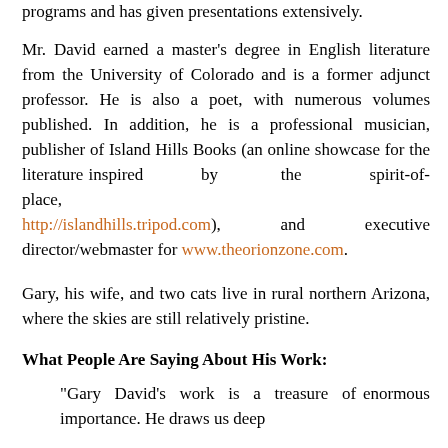programs and has given presentations extensively.
Mr. David earned a master's degree in English literature from the University of Colorado and is a former adjunct professor. He is also a poet, with numerous volumes published. In addition, he is a professional musician, publisher of Island Hills Books (an online showcase for the literature inspired by the spirit-of-place, http://islandhills.tripod.com), and executive director/webmaster for www.theorionzone.com.
Gary, his wife, and two cats live in rural northern Arizona, where the skies are still relatively pristine.
What People Are Saying About His Work:
"Gary David's work is a treasure of enormous importance. He draws us deep